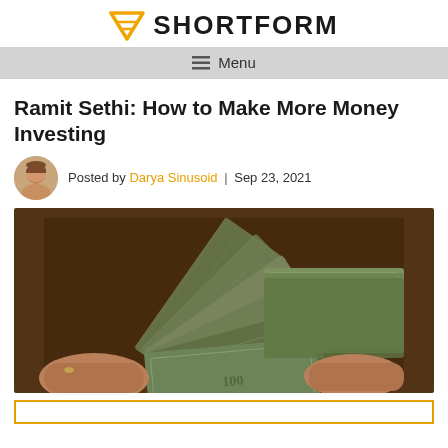SHORTFORM
Ramit Sethi: How to Make More Money Investing
Posted by Darya Sinusoid | Sep 23, 2021
[Figure (photo): Hands fanning out a large stack of $100 US dollar bills]
[Figure (other): Yellow-bordered box at bottom, partially visible]